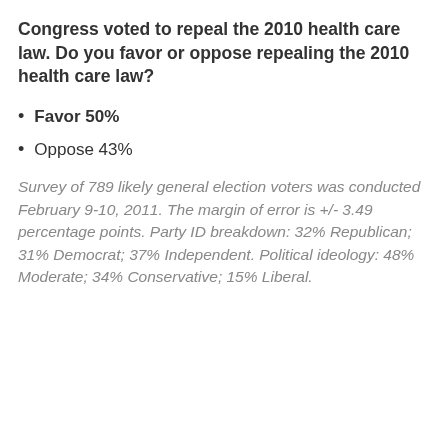Congress voted to repeal the 2010 health care law. Do you favor or oppose repealing the 2010 health care law?
Favor 50%
Oppose 43%
Survey of 789 likely general election voters was conducted February 9-10, 2011. The margin of error is +/- 3.49 percentage points. Party ID breakdown: 32% Republican; 31% Democrat; 37% Independent. Political ideology: 48% Moderate; 34% Conservative; 15% Liberal.